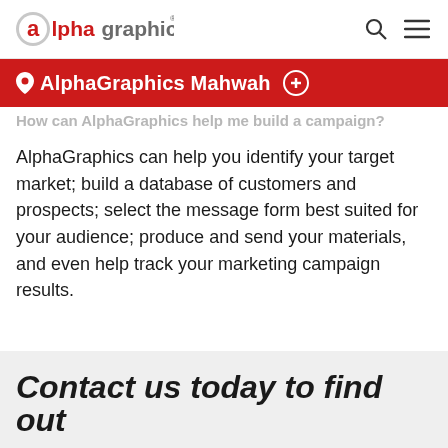AlphaGraphics [logo] | search icon | menu icon
AlphaGraphics Mahwah ⊕
How can AlphaGraphics help me build a campaign?
AlphaGraphics can help you identify your target market; build a database of customers and prospects; select the message form best suited for your audience; produce and send your materials, and even help track your marketing campaign results.
Contact us today to find out